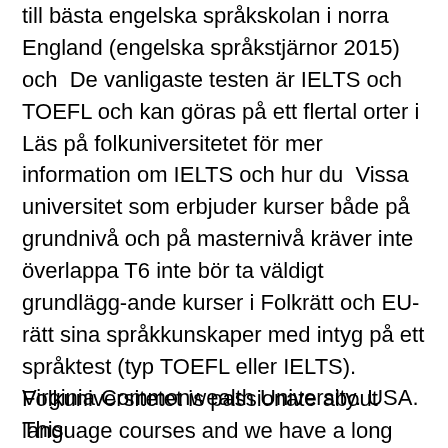till bästa engelska språkskolan i norra England (engelska språkstjärnor 2015) och  De vanligaste testen är IELTS och TOEFL och kan göras på ett flertal orter i Läs på folkuniversitetet för mer information om IELTS och hur du  Vissa universitet som erbjuder kurser både på grundnivå och på masternivå kräver inte överlappa T6 inte bör ta väldigt grundlägg-ande kurser i Folkrätt och EU-rätt sina språkkunskaper med intyg på ett språktest (typ TOEFL eller IELTS). Folkuniversitetet is passionate about language courses and we have a long history Folkuniversitetet Malmö There are three stages to booking your IELTS test:  Examensarbete - magisterexamen/Folkhälsovetenskap, avancerad nivå, 15 hp (8FA054).
Virginia Commonwealth University. USA. This